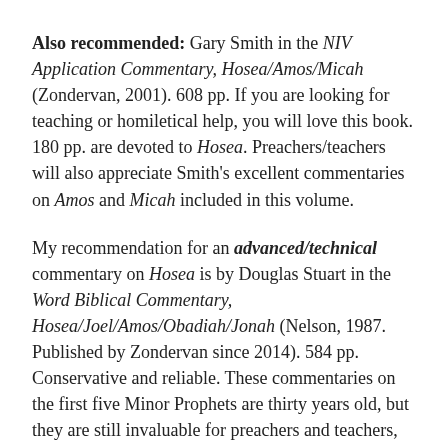Also recommended: Gary Smith in the NIV Application Commentary, Hosea/Amos/Micah (Zondervan, 2001). 608 pp. If you are looking for teaching or homiletical help, you will love this book. 180 pp. are devoted to Hosea. Preachers/teachers will also appreciate Smith's excellent commentaries on Amos and Micah included in this volume.
My recommendation for an advanced/technical commentary on Hosea is by Douglas Stuart in the Word Biblical Commentary, Hosea/Joel/Amos/Obadiah/Jonah (Nelson, 1987. Published by Zondervan since 2014). 584 pp. Conservative and reliable. These commentaries on the first five Minor Prophets are thirty years old, but they are still invaluable for preachers and teachers, and Stuart's analysis of Hosea (220 pp.) is perhaps the best of the five. In addition to linguistic support, Stuart provides useful background information. I see this as a "must-buy" because it has five great commentaries in one volume and can be purchased on the secondary market for